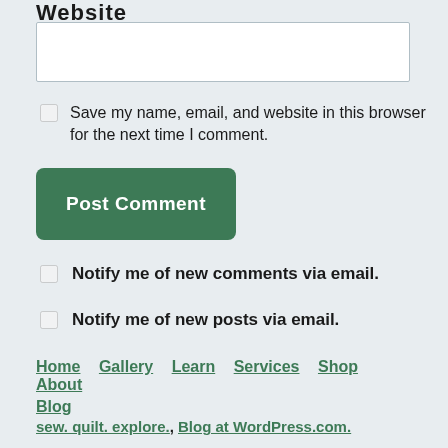Website
[Figure (other): Empty website input text field]
Save my name, email, and website in this browser for the next time I comment.
[Figure (other): Post Comment button (green rounded rectangle)]
Notify me of new comments via email.
Notify me of new posts via email.
Home   Gallery   Learn   Services   Shop   About   Blog
sew. quilt. explore., Blog at WordPress.com.